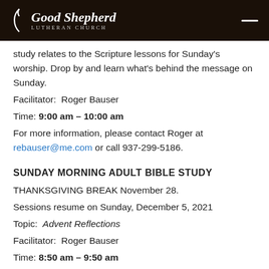Good Shepherd Lutheran Church
study relates to the Scripture lessons for Sunday's worship. Drop by and learn what's behind the message on Sunday.
Facilitator:  Roger Bauser
Time: 9:00 am – 10:00 am
For more information, please contact Roger at rebauser@me.com or call 937-299-5186.
SUNDAY MORNING ADULT BIBLE STUDY
THANKSGIVING BREAK November 28.
Sessions resume on Sunday, December 5, 2021
Topic:  Advent Reflections
Facilitator:  Roger Bauser
Time: 8:50 am – 9:50 am
Come prepare for the birth of our Lord as we reflect on God's Word for us in the season of Advent. Set aside the